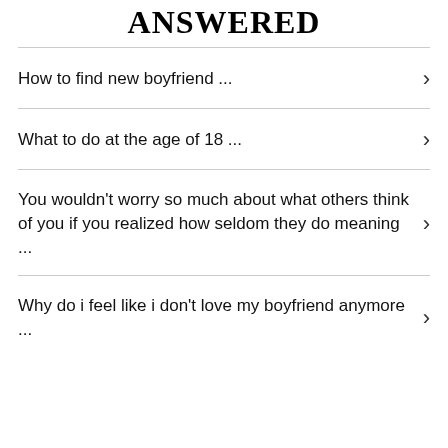ANSWERED
How to find new boyfriend ...
What to do at the age of 18 ...
You wouldn't worry so much about what others think of you if you realized how seldom they do meaning ...
Why do i feel like i don't love my boyfriend anymore ...